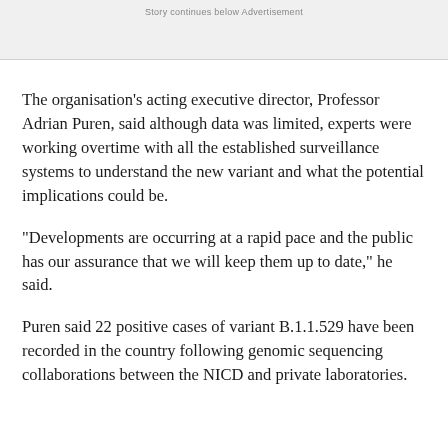Story continues below Advertisement
The organisation's acting executive director, Professor Adrian Puren, said although data was limited, experts were working overtime with all the established surveillance systems to understand the new variant and what the potential implications could be.
"Developments are occurring at a rapid pace and the public has our assurance that we will keep them up to date," he said.
Puren said 22 positive cases of variant B.1.1.529 have been recorded in the country following genomic sequencing collaborations between the NICD and private laboratories.